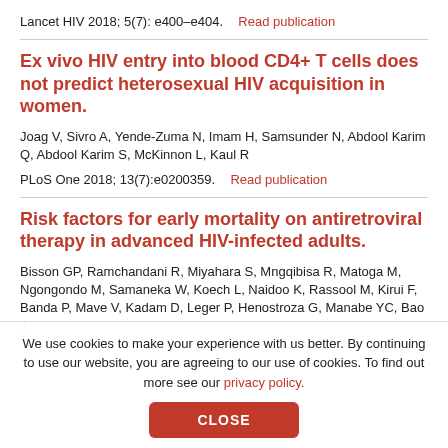Lancet HIV 2018; 5(7): e400–e404.   Read publication
Ex vivo HIV entry into blood CD4+ T cells does not predict heterosexual HIV acquisition in women.
Joag V, Sivro A, Yende-Zuma N, Imam H, Samsunder N, Abdool Karim Q, Abdool Karim S, McKinnon L, Kaul R
PLoS One 2018; 13(7):e0200359.   Read publication
Risk factors for early mortality on antiretroviral therapy in advanced HIV-infected adults.
Bisson GP, Ramchandani R, Miyahara S, Mngqibisa R, Matoga M, Ngongondo M, Samaneka W, Koech L, Naidoo K, Rassool M, Kirui F, Banda P, Mave V, Kadam D, Leger P, Henostroza G, Manabe YC, Bao J,
We use cookies to make your experience with us better. By continuing to use our website, you are agreeing to our use of cookies. To find out more see our privacy policy.